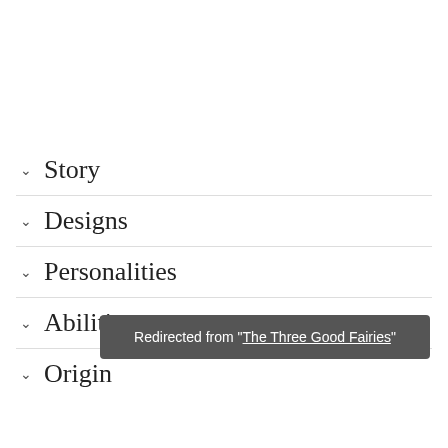Story
Designs
Personalities
Abilities
Origin
Redirected from "The Three Good Fairies"